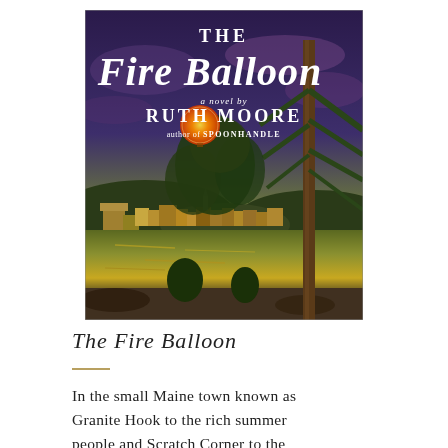[Figure (illustration): Book cover of 'The Fire Balloon, a novel by Ruth Moore, author of Spoonhandle'. The cover shows a painted night scene of a small coastal Maine town with hills, water, buildings, a tall pine tree on the right, and a glowing orange balloon or moon in the dark blue-purple sky.]
The Fire Balloon
In the small Maine town known as Granite Hook to the rich summer people and Scratch Corner to the